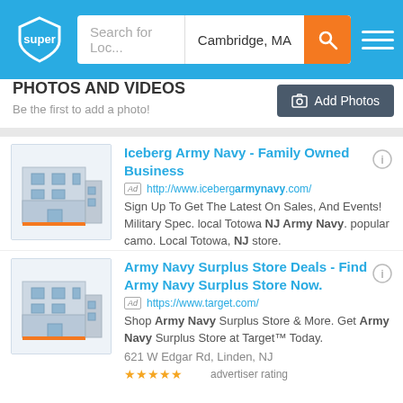super | Search for Loc... | Cambridge, MA
PHOTOS AND VIDEOS
Be the first to add a photo!
Iceberg Army Navy - Family Owned Business
Ad http://www.icebergarmynavy.com/
Sign Up To Get The Latest On Sales, And Events! Military Spec. local Totowa NJ Army Navy. popular camo. Local Totowa, NJ store.
Army Navy Surplus Store Deals - Find Army Navy Surplus Store Now.
Ad https://www.target.com/
Shop Army Navy Surplus Store & More. Get Army Navy Surplus Store at Target™ Today.
621 W Edgar Rd, Linden, NJ
★★★★★ advertiser rating